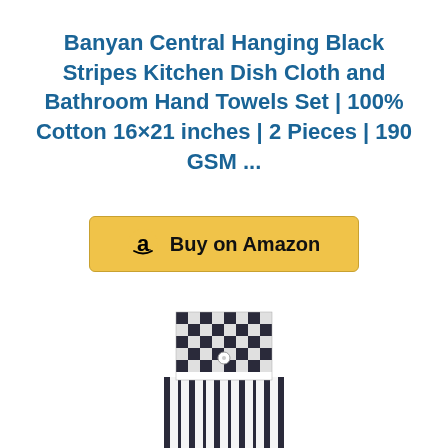Banyan Central Hanging Black Stripes Kitchen Dish Cloth and Bathroom Hand Towels Set | 100% Cotton 16×21 inches | 2 Pieces | 190 GSM ...
[Figure (other): Amazon 'Buy on Amazon' button with the Amazon 'a' logo on a golden/yellow background with rounded corners]
[Figure (photo): Product photo showing the top portion of a hanging kitchen towel with black and white checkered/gingham pattern at the top (with a small white button) and black vertical stripes on white fabric below]